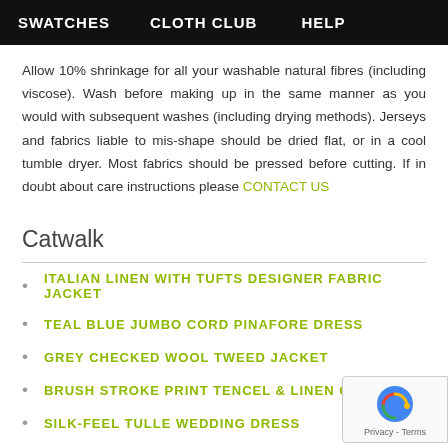SWATCHES   CLOTH CLUB   HELP
Allow 10% shrinkage for all your washable natural fibres (including viscose). Wash before making up in the same manner as you would with subsequent washes (including drying methods). Jerseys and fabrics liable to mis-shape should be dried flat, or in a cool tumble dryer. Most fabrics should be pressed before cutting. If in doubt about care instructions please CONTACT US
Catwalk
ITALIAN LINEN WITH TUFTS DESIGNER FABRIC JACKET
TEAL BLUE JUMBO CORD PINAFORE DRESS
GREY CHECKED WOOL TWEED JACKET
BRUSH STROKE PRINT TENCEL & LINEN CAMISOLE
SILK-FEEL TULLE WEDDING DRESS